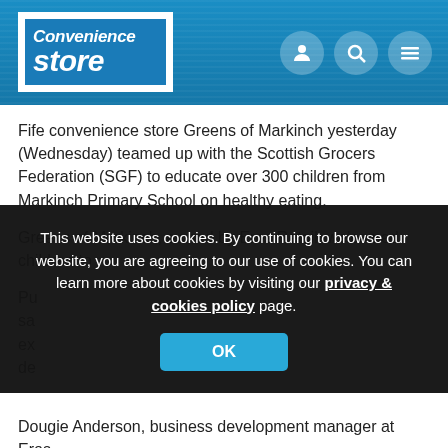[Figure (logo): Convenience Store magazine logo — white text on blue background inside white border box]
Fife convenience store Greens of Markinch yesterday (Wednesday) teamed up with the Scottish Grocers Federation (SGF) to educate over 300 children from Markinch Primary School on healthy eating.
Greens of Markinch, owned by Eros Retail, welcomed children to
This website uses cookies. By continuing to browse our website, you are agreeing to our use of cookies. You can learn more about cookies by visiting our privacy & cookies policy page.
Dougie Anderson, business development manager at Eros